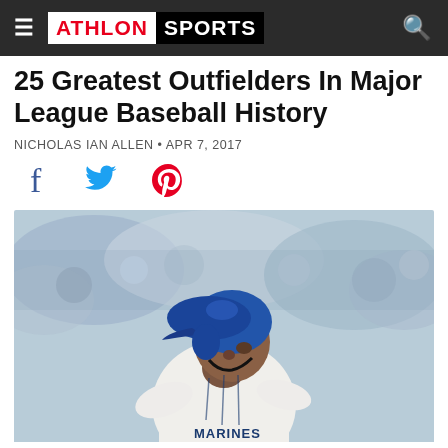ATHLON SPORTS
25 Greatest Outfielders In Major League Baseball History
NICHOLAS IAN ALLEN • APR 7, 2017
[Figure (other): Social sharing icons: Facebook (blue), Twitter (blue bird), Pinterest (red)]
[Figure (photo): Baseball player wearing a Seattle Mariners uniform and blue batting helmet, looking upward, likely watching a hit. Blurred crowd in background.]